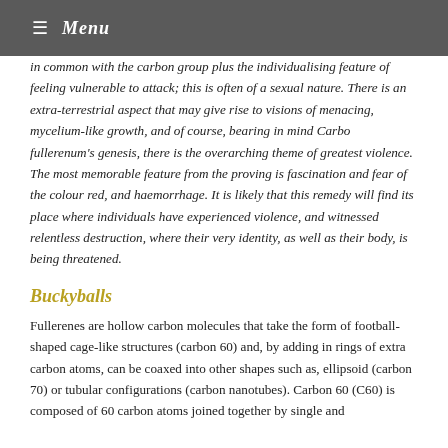≡ Menu
in common with the carbon group plus the individualising feature of feeling vulnerable to attack; this is often of a sexual nature. There is an extra-terrestrial aspect that may give rise to visions of menacing, mycelium-like growth, and of course, bearing in mind Carbo fullerenum's genesis, there is the overarching theme of greatest violence. The most memorable feature from the proving is fascination and fear of the colour red, and haemorrhage. It is likely that this remedy will find its place where individuals have experienced violence, and witnessed relentless destruction, where their very identity, as well as their body, is being threatened.
Buckyballs
Fullerenes are hollow carbon molecules that take the form of football-shaped cage-like structures (carbon 60) and, by adding in rings of extra carbon atoms, can be coaxed into other shapes such as, ellipsoid (carbon 70) or tubular configurations (carbon nanotubes). Carbon 60 (C60) is composed of 60 carbon atoms joined together by single and